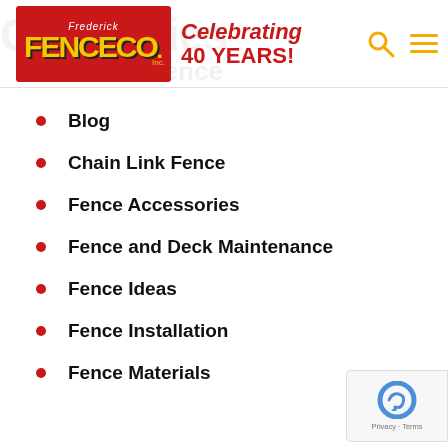Frederick Fence Co. Inc. — Celebrating 40 YEARS!
Blog
Chain Link Fence
Fence Accessories
Fence and Deck Maintenance
Fence Ideas
Fence Installation
Fence Materials